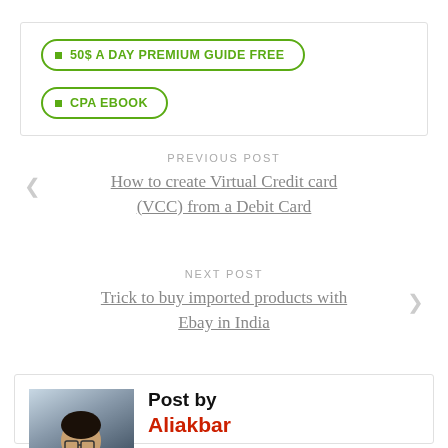50$ A DAY PREMIUM GUIDE FREE
CPA EBOOK
PREVIOUS POST
How to create Virtual Credit card (VCC) from a Debit Card
NEXT POST
Trick to buy imported products with Ebay in India
Post by Aliakbar
Ali alias Aliakbar Fakhri here. Web